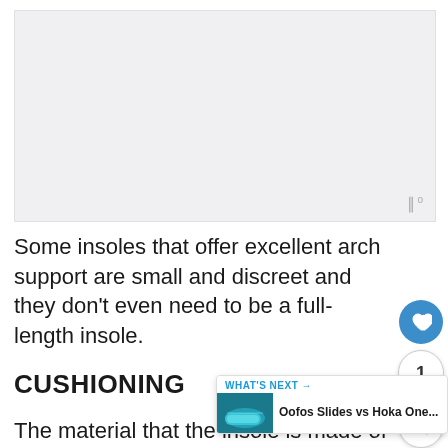[Figure (photo): Light gray placeholder image area with a small watermark icon in the bottom right corner showing three vertical bars and a degree symbol]
Some insoles that offer excellent arch support are small and discreet and they don't even need to be a full-length insole.
CUSHIONING
The material that the insole is made of can help absorb shock so that your joints are better